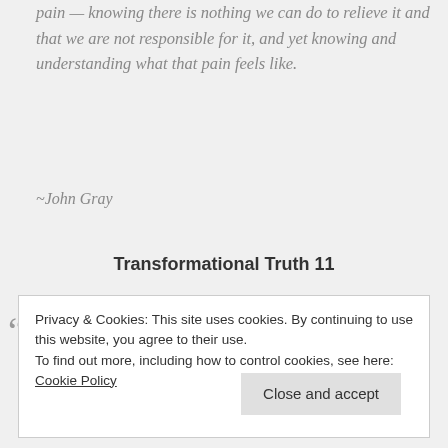pain — knowing there is nothing we can do to relieve it and that we are not responsible for it, and yet knowing and understanding what that pain feels like.
~John Gray
Transformational Truth 11
How people see the world is often a reflection of how they see themselves. If they think that the world is just a
Privacy & Cookies: This site uses cookies. By continuing to use this website, you agree to their use.
To find out more, including how to control cookies, see here: Cookie Policy